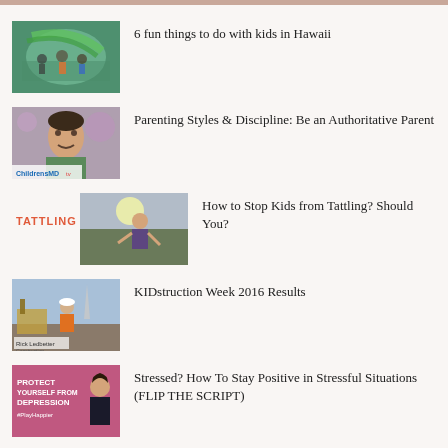6 fun things to do with kids in Hawaii
Parenting Styles & Discipline: Be an Authoritative Parent
How to Stop Kids from Tattling? Should You?
KIDstruction Week 2016 Results
Stressed? How To Stay Positive in Stressful Situations (FLIP THE SCRIPT)